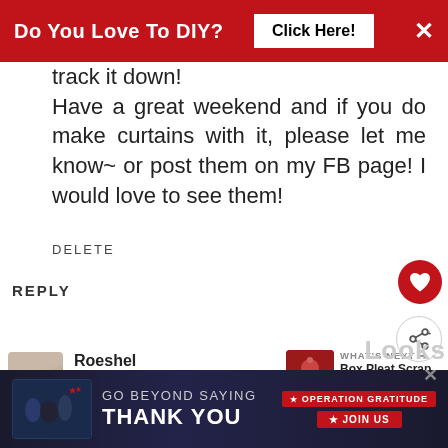Do You Love To DIY?  Click Here!  ×
track it down! Have a great weekend and if you do make curtains with it, please let me know~ or post them on my FB page! I would love to see them!
DELETE
REPLY
Roeshel
JULY 14, 2013 AT 7:50 PM
[Figure (other): What's Next thumbnail with red dessert image and text 'Box Pleat Scrap Fabric...']
You did a beautiful job and you
[Figure (other): Go Beyond Saying Thank You - Operation Gratitude advertisement banner with JOIN US button]